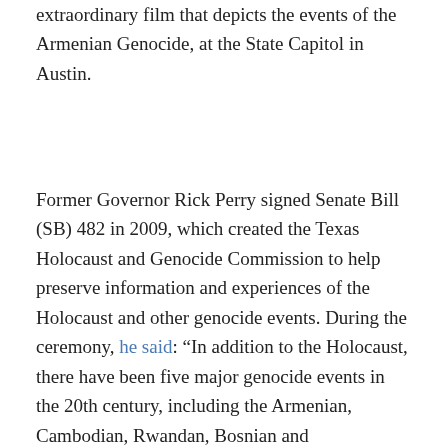extraordinary film that depicts the events of the Armenian Genocide, at the State Capitol in Austin.
Former Governor Rick Perry signed Senate Bill (SB) 482 in 2009, which created the Texas Holocaust and Genocide Commission to help preserve information and experiences of the Holocaust and other genocide events. During the ceremony, he said: “In addition to the Holocaust, there have been five major genocide events in the 20th century, including the Armenian, Cambodian, Rwandan, Bosnian and Herzegovinian, and Sudanese genocides. Survivors, liberators and others who witnessed these atrocities have died without leaving their lessons